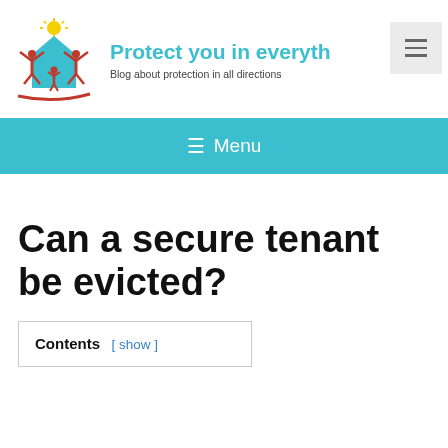[Figure (logo): Logo with two red figures and a child under a house shape with a yellow sun above, red swoosh underline]
Protect you in everyth... Blog about protection in all directions
≡ Menu
Can a secure tenant be evicted?
Contents [ show ]